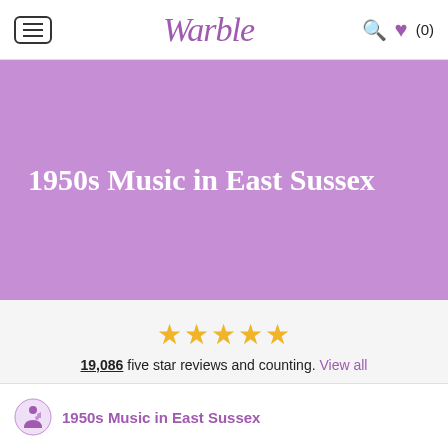Warble — navigation header with hamburger menu, logo, search icon, heart icon (0)
1950s Music in East Sussex
19,086 five star reviews and counting. View all
1950s Music in East Sussex